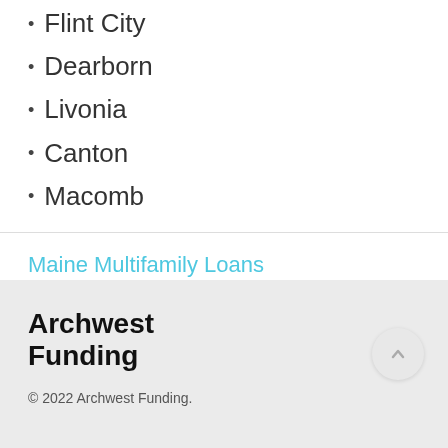Flint City
Dearborn
Livonia
Canton
Macomb
Maine Multifamily Loans
Wisconsin Multifamily Loans
Archwest Funding
© 2022 Archwest Funding.